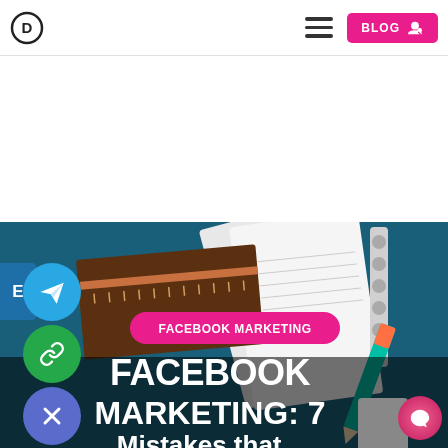Navigation bar with logo, hamburger menu, and BLOG button
[Figure (screenshot): Website header/navbar with circular logo icon on left, hamburger menu icon in center-right, and pink BLOG button with user icon on far right]
[Figure (illustration): Hero banner image for a Facebook Marketing article. Dark teal background with illustrations of notebooks, a ruler, and a pencil. Overlaid with: pink pill badge reading FACEBOOK MARKETING, large white bold text reading FACEBOOK MARKETING: 7 Mistakes that... (truncated). Social share buttons on left side: blue Telegram button, green link button, purple X/close button. Small blue E button on far left. Pink chat bubble in bottom right.]